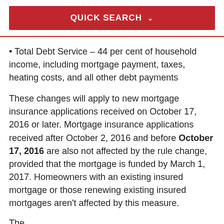QUICK SEARCH
Total Debt Service – 44 per cent of household income, including mortgage payment, taxes, heating costs, and all other debt payments
These changes will apply to new mortgage insurance applications received on October 17, 2016 or later. Mortgage insurance applications received after October 2, 2016 and before October 17, 2016 are also not affected by the rule change, provided that the mortgage is funded by March 1, 2017. Homeowners with an existing insured mortgage or those renewing existing insured mortgages aren't affected by this measure.
These changes...